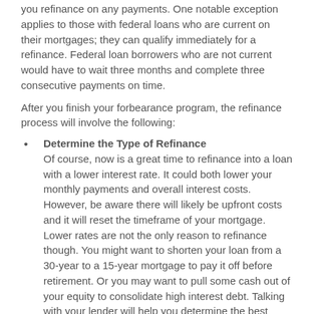you refinance on any payments. One notable exception applies to those with federal loans who are current on their mortgages; they can qualify immediately for a refinance. Federal loan borrowers who are not current would have to wait three months and complete three consecutive payments on time.
After you finish your forbearance program, the refinance process will involve the following:
Determine the Type of Refinance — Of course, now is a great time to refinance into a loan with a lower interest rate. It could both lower your monthly payments and overall interest costs. However, be aware there will likely be upfront costs and it will reset the timeframe of your mortgage. Lower rates are not the only reason to refinance though. You might want to shorten your loan from a 30-year to a 15-year mortgage to pay it off before retirement. Or you may want to pull some cash out of your equity to consolidate high interest debt. Talking with your lender will help you determine the best refinance for your situation.